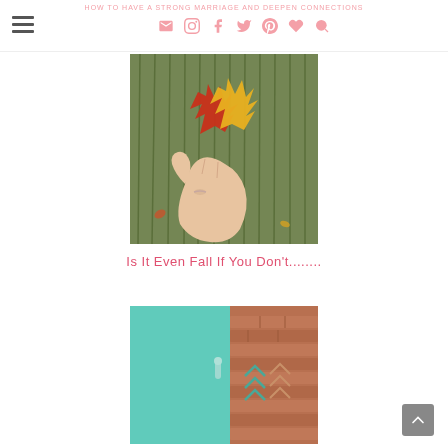How To Have A Strong Marriage And Deepen Connections
[Figure (photo): Hand holding red and yellow autumn leaves against green grass background]
Is It Even Fall If You Don't........
[Figure (photo): Teal/turquoise door next to brick wall with decorative arrow pattern]